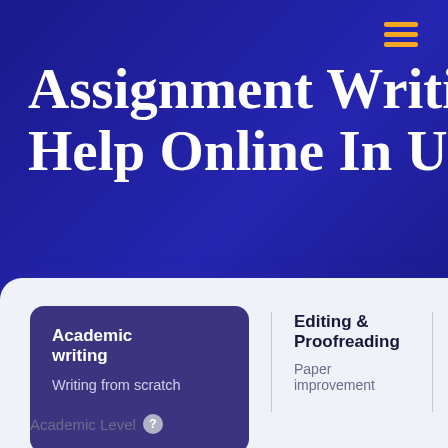[Figure (screenshot): Website header with hamburger menu icon (three horizontal yellow bars) on dark navy/indigo background]
Assignment Writing Help Online In UK
[Figure (screenshot): Service selection card UI with three tabs: 'Academic writing / Writing from scratch' (active, purple card), 'Editing & Proofreading / Paper improvement', and 'Calculations / Problem solving']
Academic Level ?